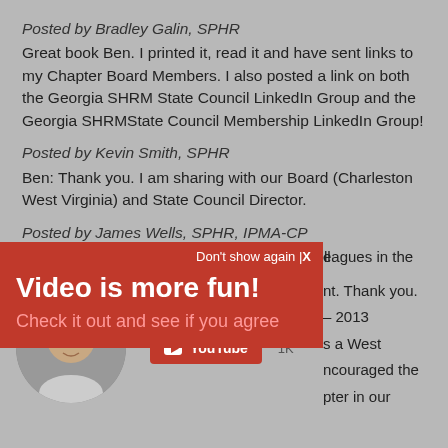Posted by Bradley Galin, SPHR
Great book Ben. I printed it, read it and have sent links to my Chapter Board Members. I also posted a link on both the Georgia SHRM State Council LinkedIn Group and the Georgia SHRMState Council Membership LinkedIn Group!
Posted by Kevin Smith, SPHR
Ben: Thank you. I am sharing with our Board (Charleston West Virginia) and State Council Director.
Posted by James Wells, SPHR, IPMA-CP
Great guide! I'll be sharing with my board colleagues in the
[Figure (screenshot): Red popup overlay with text 'Don't show again | X', 'Video is more fun!', 'Check it out and see if you agree', with a circular avatar photo and YouTube button showing 1K views]
nt. Thank you.
– 2013
s a West
ncouraged the
pter in our
State. Thank you.